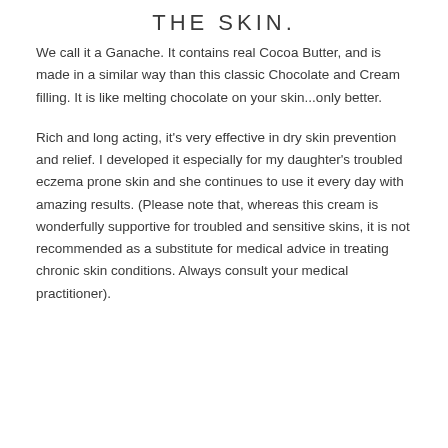THE SKIN.
We call it a Ganache. It contains real Cocoa Butter, and is made in a similar way than this classic Chocolate and Cream filling. It is like melting chocolate on your skin...only better.
Rich and long acting, it's very effective in dry skin prevention and relief. I developed it especially for my daughter's troubled eczema prone skin and she continues to use it every day with amazing results. (Please note that, whereas this cream is wonderfully supportive for troubled and sensitive skins, it is not recommended as a substitute for medical advice in treating chronic skin conditions. Always consult your medical practitioner).